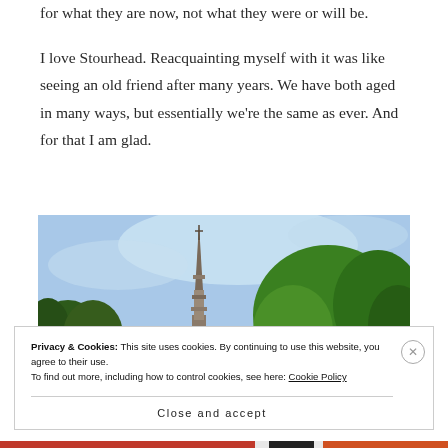for what they are now, not what they were or will be.
I love Stourhead. Reacquainting myself with it was like seeing an old friend after many years. We have both aged in many ways, but essentially we're the same as ever. And for that I am glad.
[Figure (photo): A tall Gothic stone spire/monument against a bright blue sky with green trees on either side]
Privacy & Cookies: This site uses cookies. By continuing to use this website, you agree to their use.
To find out more, including how to control cookies, see here: Cookie Policy
Close and accept